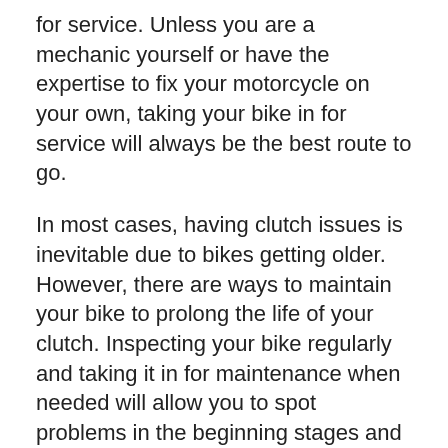for service. Unless you are a mechanic yourself or have the expertise to fix your motorcycle on your own, taking your bike in for service will always be the best route to go.
In most cases, having clutch issues is inevitable due to bikes getting older. However, there are ways to maintain your bike to prolong the life of your clutch. Inspecting your bike regularly and taking it in for maintenance when needed will allow you to spot problems in the beginning stages and potentially save you a lot of money. And who doesn't like saving money? Browse hupy.com for more related articles and visit our YouTube page for our Behind The Handlebars event videos.
In the event that you or a loved one has been hurt in a motorcycle crash, the experienced attorneys of Hupy and Abraham may be able to help you. We will go above and beyond the call of duty to ensure that you are treated fairly, provide you with the personal attention that you deserve.